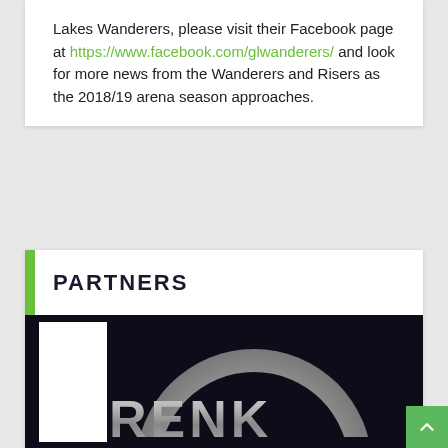Lakes Wanderers, please visit their Facebook page at https://www.facebook.com/glwanderers/ and look for more news from the Wanderers and Risers as the 2018/19 arena season approaches.
PARTNERS
[Figure (logo): RENK company logo on dark background — a large grey metallic arc/ring above the text 'RENK' in silver 3D-style letters, with a white vertical rectangle on the left side]